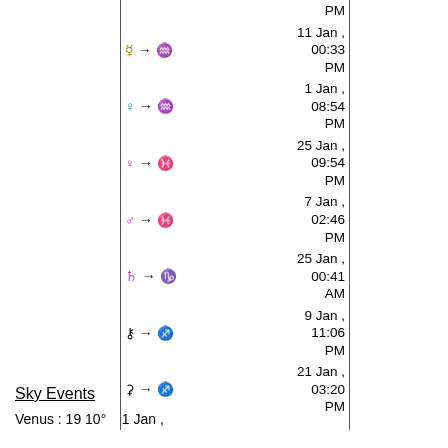| Symbol | Date/Time |
| --- | --- |
|  | PM |
| ☿ → ♒ | 11 Jan , 00:33 PM |
| ♀ → ♒ | 1 Jan , 08:54 PM |
| ♀ → ♓ | 25 Jan , 09:54 PM |
| ♂ → ♓ | 7 Jan , 02:46 PM |
| ♄ → ♑ | 25 Jan , 00:41 AM |
| ⚷ → ♐ | 9 Jan , 11:06 PM |
| ⚷ → ♐ | 21 Jan , 03:20 PM |
Sky Events
Venus : 19 10°     1 Jan ,